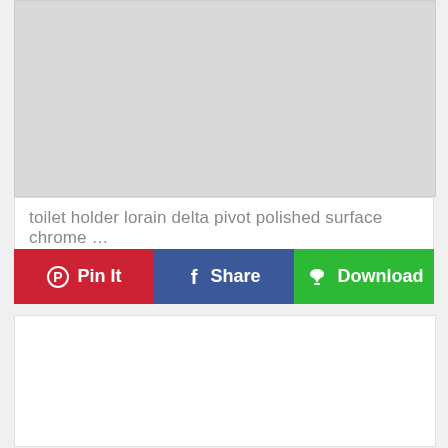[Figure (photo): Gray placeholder image area at the top of the page]
toilet holder lorain delta pivot polished surface chrome …
[Figure (infographic): Row of three social/action buttons: Pin It (red, Pinterest), Share (blue, Facebook), Download (green)]
[Figure (photo): White placeholder image area at the bottom of the page]